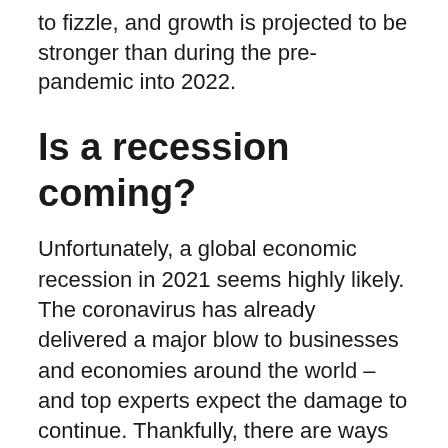to fizzle, and growth is projected to be stronger than during the pre-pandemic into 2022.
Is a recession coming?
Unfortunately, a global economic recession in 2021 seems highly likely. The coronavirus has already delivered a major blow to businesses and economies around the world – and top experts expect the damage to continue. Thankfully, there are ways you can prepare for an economic recession: Live within you means.
What years did the US have a recession?